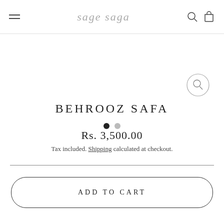sage saga
[Figure (illustration): Product image area with zoom circle button in top right, two navigation dots below]
BEHROOZ SAFA
Rs. 3,500.00
Tax included. Shipping calculated at checkout.
ADD TO CART